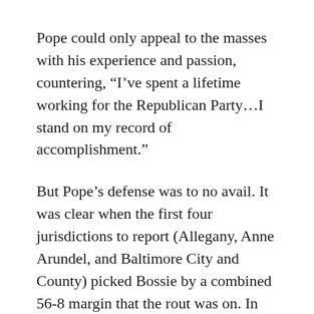Pope could only appeal to the masses with his experience and passion, countering, “I’ve spent a lifetime working for the Republican Party…I stand on my record of accomplishment.”
But Pope’s defense was to no avail. It was clear when the first four jurisdictions to report (Allegany, Anne Arundel, and Baltimore City and County) picked Bossie by a combined 56-8 margin that the rout was on. In terms of our voting system the count was 365-188, but in actual bodies it was 182 to 91 – a perfect 2-to-1 margin. Pope only carried eight counties (Caroline, Cecil, Frederick, Garrett, Howard,